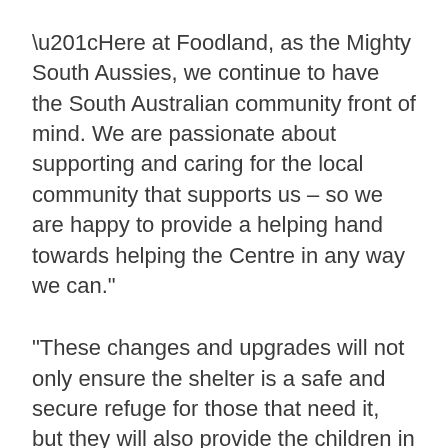“Here at Foodland, as the Mighty South Aussies, we continue to have the South Australian community front of mind. We are passionate about supporting and caring for the local community that supports us – so we are happy to provide a helping hand towards helping the Centre in any way we can.”
“These changes and upgrades will not only ensure the shelter is a safe and secure refuge for those that need it, but they will also provide the children in the centre with the opportunity for a fun space—a playground where they can feel safe during such challenging times in their lives.”